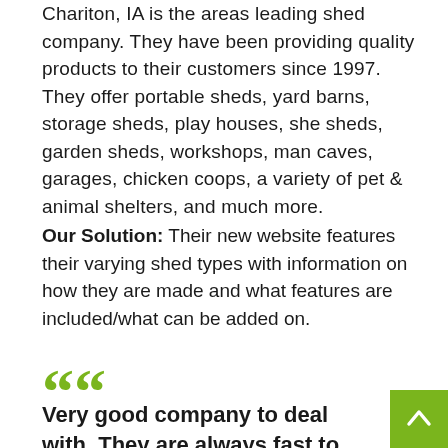Chariton, IA is the areas leading shed company. They have been providing quality products to their customers since 1997. They offer portable sheds, yard barns, storage sheds, play houses, she sheds, garden sheds, workshops, man caves, garages, chicken coops, a variety of pet & animal shelters, and much more.
Our Solution: Their new website features their varying shed types with information on how they are made and what features are included/what can be added on.
““
Very good company to deal with. They are always fast to respond and do what